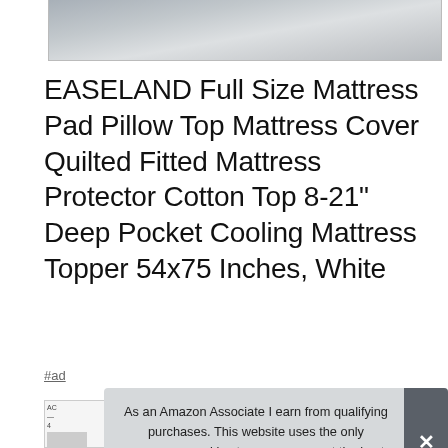[Figure (photo): Partial view of white mattress pad/bedding product image, cropped at bottom]
EASELAND Full Size Mattress Pad Pillow Top Mattress Cover Quilted Fitted Mattress Protector Cotton Top 8-21" Deep Pocket Cooling Mattress Topper 54x75 Inches, White
#ad
[Figure (photo): Thumbnail of product listing, partially visible]
As an Amazon Associate I earn from qualifying purchases. This website uses the only necessary cookies to ensure you get the best experience on our website. More information